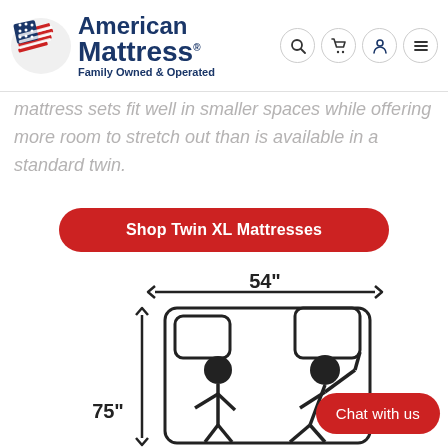[Figure (logo): American Mattress logo with American flag graphic and text 'American Mattress Family Owned & Operated']
mattress sets fit well in smaller spaces while offering more room to stretch out than is available in a standard twin.
Shop Twin XL Mattresses
[Figure (illustration): Diagram showing a full/queen size mattress outline with two stick figures lying on it, with dimensions 54 inches wide and 75 inches long indicated by arrows]
Chat with us